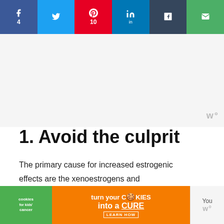[Figure (other): Social media share bar with Facebook (4 shares), Twitter, Pinterest (10 shares), LinkedIn, Tumblr, and Email buttons]
[Figure (other): Advertisement placeholder area with widget logo (w°) in top right corner]
1. Avoid the culprit
The primary cause for increased estrogenic effects are the xenoestrogens and phytoestrogens. These may be prevalent in your surroundings or diet, but there are ways to avoid them. Avoid eating processed foods that
[Figure (other): Bottom advertisement banner: cookies for kids cancer - turn your COOKIES into a CURE LEARN HOW]
[Figure (other): Floating heart/like button showing 15 likes, and a share icon on right side]